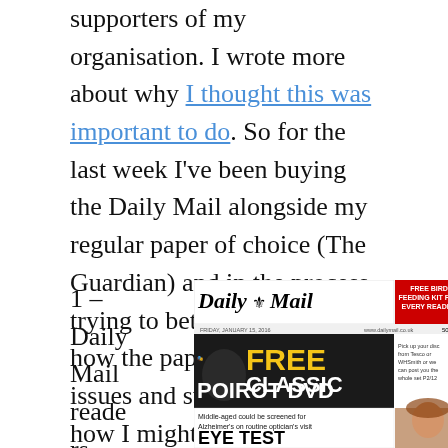supporters of my organisation. I wrote more about why I thought this was important to do. So for the last week I've been buying the Daily Mail alongside my regular paper of choice (The Guardian) and in the process trying to better understand how the paper approaches issues and stories, and think how I might be able to get my campaigning into the Daily Mail, and in front of thousands of my organisations supporters who read it every day.
1 – Daily Mail readers need
[Figure (photo): Daily Mail newspaper front page showing: masthead 'Daily Mail', red banner 'FREE BIRD FEEDING KIT FOR EVERY READER', large yellow/white headline 'FREE CLASSIC POIROT DVD', smaller headline 'Middle-aged could be screened for Alzheimer's on routine optician's visit' and partial headline 'EYE TEST' with photo of a woman]